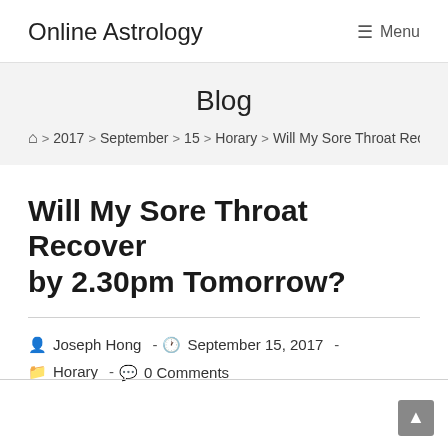Online Astrology   ☰ Menu
Blog
🏠 > 2017 > September > 15 > Horary > Will My Sore Throat Reco
Will My Sore Throat Recover by 2.30pm Tomorrow?
Joseph Hong  -  September 15, 2017  -  Horary  -  0 Comments